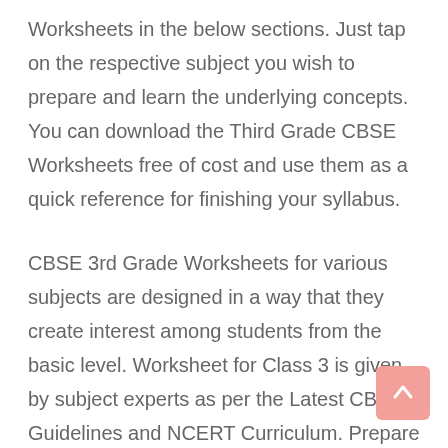Worksheets in the below sections. Just tap on the respective subject you wish to prepare and learn the underlying concepts. You can download the Third Grade CBSE Worksheets free of cost and use them as a quick reference for finishing your syllabus.
CBSE 3rd Grade Worksheets for various subjects are designed in a way that they create interest among students from the basic level. Worksheet for Class 3 is given by subject experts as per the Latest CBSE Guidelines and NCERT Curriculum. Prepare effectively using these Worksheets and score well in the exams. Click on the subject links available to prepare them accordingly. We don't charge any amount